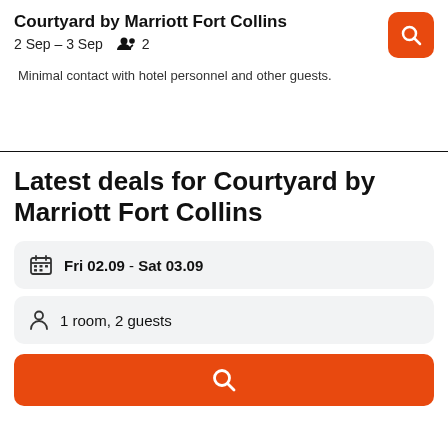Courtyard by Marriott Fort Collins
2 Sep – 3 Sep  👥 2
Minimal contact with hotel personnel and other guests.
Latest deals for Courtyard by Marriott Fort Collins
Fri 02.09  -  Sat 03.09
1 room, 2 guests